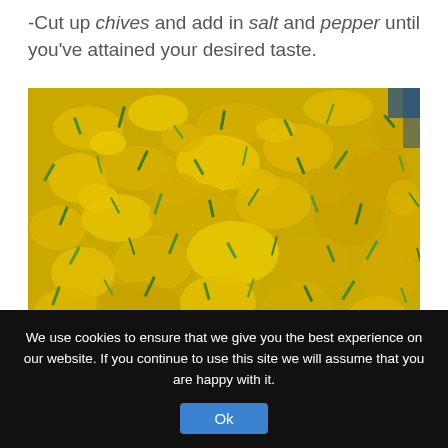-Cut up chives and add in salt and pepper until you've attained your desired taste.
[Figure (photo): Close-up photo of scrambled eggs mixed with chopped green chives, showing yellow fluffy egg texture with green herb pieces throughout.]
We use cookies to ensure that we give you the best experience on our website. If you continue to use this site we will assume that you are happy with it.